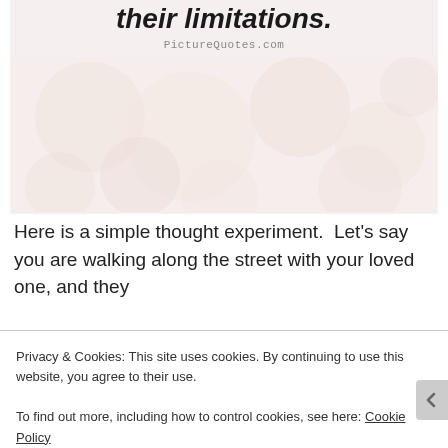[Figure (illustration): A quote image from PictureQuotes.com showing bold italic text 'their limitations.' on a light pinkish-beige bokeh background. The site watermark 'PictureQuotes.com' appears in handwriting-style font below the text.]
Here is a simple thought experiment.  Let's say you are walking along the street with your loved one, and they
Privacy & Cookies: This site uses cookies. By continuing to use this website, you agree to their use.
To find out more, including how to control cookies, see here: Cookie Policy
Close and accept